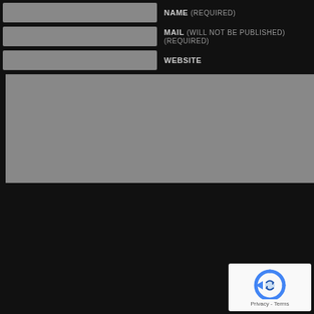NAME (REQUIRED)
MAIL (WILL NOT BE PUBLISHED) (REQUIRED)
WEBSITE
[Figure (screenshot): reCAPTCHA widget with circular arrow logo and Privacy - Terms text]
Privacy - Terms